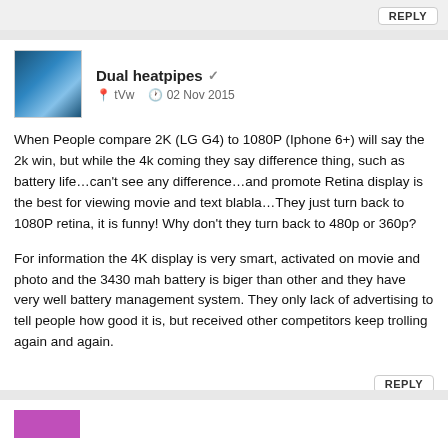REPLY
Dual heatpipes ✓   tVw   02 Nov 2015
When People compare 2K (LG G4) to 1080P (Iphone 6+) will say the 2k win, but while the 4k coming they say difference thing, such as battery life…can't see any difference…and promote Retina display is the best for viewing movie and text blabla…They just turn back to 1080P retina, it is funny! Why don't they turn back to 480p or 360p?
For information the 4K display is very smart, activated on movie and photo and the 3430 mah battery is biger than other and they have very well battery management system. They only lack of advertising to tell people how good it is, but received other competitors keep trolling again and again.
REPLY